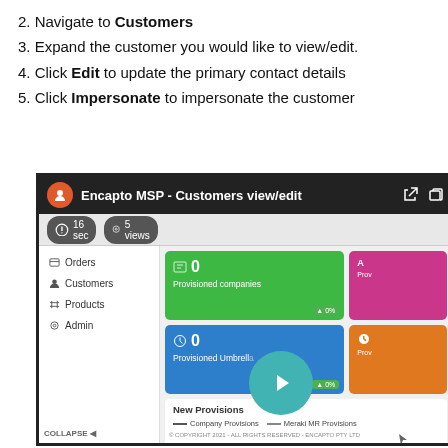2. Navigate to Customers
3. Expand the customer you would like to view/edit.
4. Click Edit to update the primary contact details
5. Click Impersonate to impersonate the customer
[Figure (screenshot): Screenshot of Encapto MSP Customers view/edit dashboard showing sidebar navigation with Orders, Customers, Products, Admin items; dashboard cards for Provisioned companies (0, green), Provisioned Umbrella (0, blue), and partial pink/orange cards; New Provisions panel with Company Provisions and Meraki MR Provisions legend; a teal play button overlay; and copyright notice 2021 Encapto Pty Ltd.]